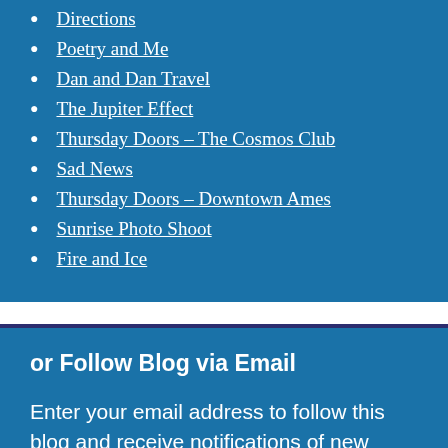Directions
Poetry and Me
Dan and Dan Travel
The Jupiter Effect
Thursday Doors – The Cosmos Club
Sad News
Thursday Doors – Downtown Ames
Sunrise Photo Shoot
Fire and Ice
or Follow Blog via Email
Enter your email address to follow this blog and receive notifications of new